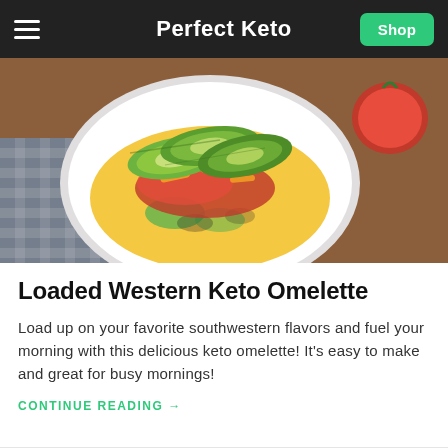Perfect Keto
[Figure (photo): A white plate with a loaded western keto omelette topped with sliced avocado, salsa, and shredded cheese, on a wooden surface with a checkered cloth and tomato in background.]
Loaded Western Keto Omelette
Load up on your favorite southwestern flavors and fuel your morning with this delicious keto omelette! It's easy to make and great for busy mornings!
CONTINUE READING →